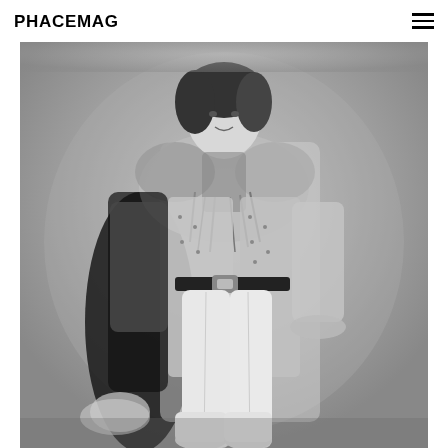PHACEMAG
[Figure (photo): Black and white photograph of a person wearing an elaborate outfit: a long fur-trimmed coat, ornate patterned jacket with fringe and tassels, white trousers, white boots, and a belt with a large buckle. The figure stands in a studio setting against a plain grey background.]